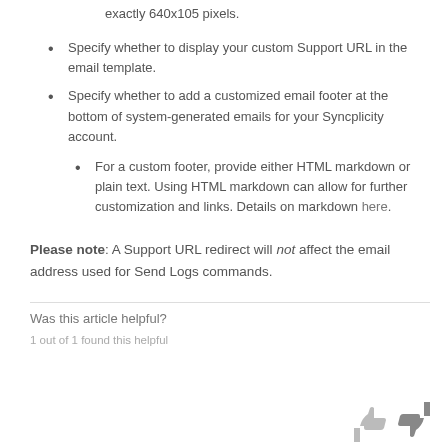exactly 640x105 pixels.
Specify whether to display your custom Support URL in the email template.
Specify whether to add a customized email footer at the bottom of system-generated emails for your Syncplicity account.
For a custom footer, provide either HTML markdown or plain text. Using HTML markdown can allow for further customization and links. Details on markdown here.
Please note: A Support URL redirect will not affect the email address used for Send Logs commands.
Was this article helpful?
1 out of 1 found this helpful